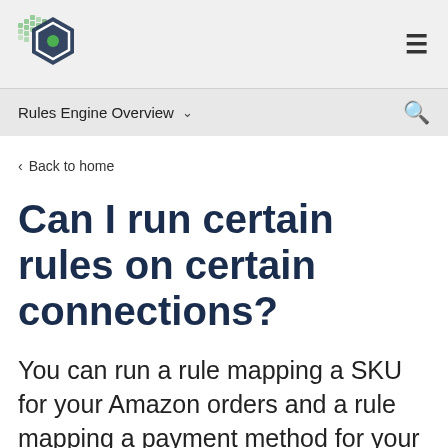Rules Engine Overview
< Back to home
Can I run certain rules on certain connections?
You can run a rule mapping a SKU for your Amazon orders and a rule mapping a payment method for your